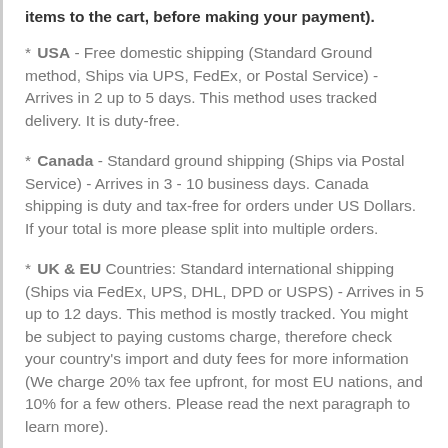items to the cart, before making your payment).
* USA - Free domestic shipping (Standard Ground method, Ships via UPS, FedEx, or Postal Service) - Arrives in 2 up to 5 days. This method uses tracked delivery. It is duty-free.
* Canada - Standard ground shipping (Ships via Postal Service) - Arrives in 3 - 10 business days. Canada shipping is duty and tax-free for orders under US Dollars. If your total is more please split into multiple orders.
* UK & EU Countries: Standard international shipping (Ships via FedEx, UPS, DHL, DPD or USPS) - Arrives in 5 up to 12 days. This method is mostly tracked. You might be subject to paying customs charge, therefore check your country's import and duty fees for more information (We charge 20% tax fee upfront, for most EU nations, and 10% for a few others. Please read the next paragraph to learn more).